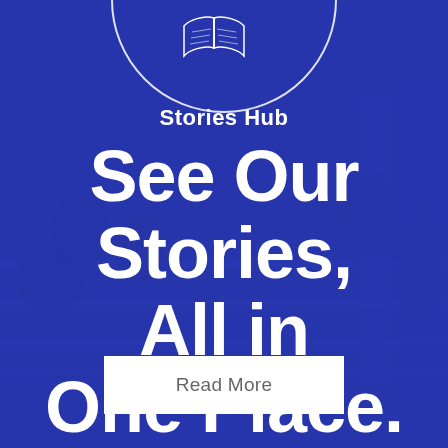[Figure (illustration): Blue-tinted military/action background photo with soldiers, overlaid with semi-transparent blue color. Circle logo with open book icon at top center. Brand name 'Stories Hub' inside circle. Large white bold headline text 'See Our Stories, All in One Place.' and a white 'Read More' button at bottom.]
Stories Hub
See Our Stories, All in One Place.
Read More